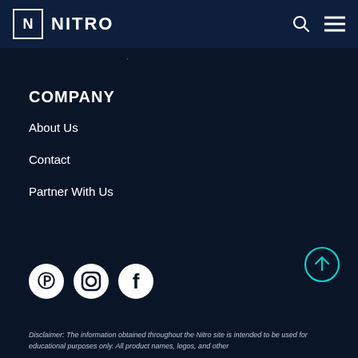N NITRO
COMPANY
About Us
Contact
Partner With Us
[Figure (logo): Social media icons: Pinterest, Instagram, Facebook]
[Figure (other): Back to top arrow button (teal circle with up arrow)]
Disclaimer: The information obtained throughout the Nitro site is intended to be used for educational purposes only. All product names, logos, and other